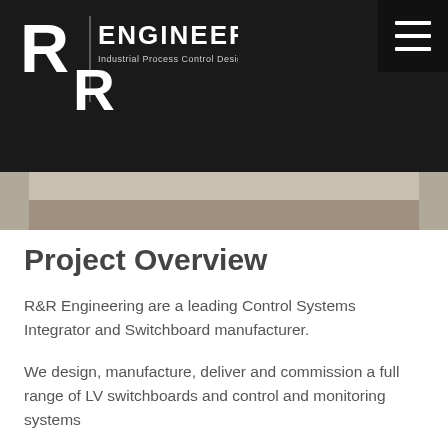[Figure (logo): R&R Engineering logo with two stylized R letters and text 'ENGINEERING Industrial Process Control Designers & Manufacturers' on dark background, with hamburger menu icon]
[Figure (photo): Partial view of industrial switchboard or control panel equipment on workshop floor]
Project Overview
R&R Engineering are a leading Control Systems Integrator and Switchboard manufacturer.
We design, manufacture, deliver and commission a full range of LV switchboards and control and monitoring systems